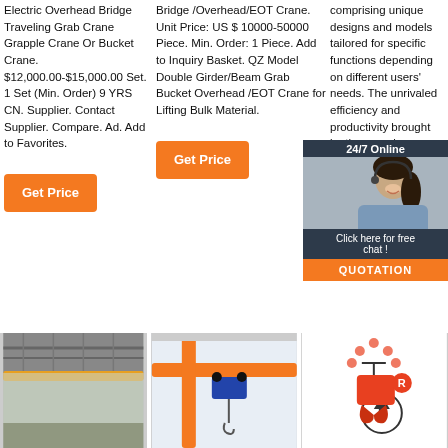Electric Overhead Bridge Traveling Grab Crane Grapple Crane Or Bucket Crane. $12,000.00-$15,000.00 Set. 1 Set (Min. Order) 9 YRS CN. Supplier. Contact Supplier. Compare. Ad. Add to Favorites.
Bridge /Overhead/EOT Crane. Unit Price: US $ 10000-50000 Piece. Min. Order: 1 Piece. Add to Inquiry Basket. QZ Model Double Girder/Beam Grab Bucket Overhead /EOT Crane for Lifting Bulk Material.
comprising unique designs and models tailored for specific functions depending on different users' needs. The unrivaled efficiency and productivity brought by these grab crane is one of the vital attributes. They are fast and incredibly capable of executing work and they are
[Figure (infographic): 24/7 Online chat overlay panel with woman customer service representative, Click here for free chat text, and QUOTATION button]
[Figure (photo): Industrial overhead bridge crane viewed from below inside a factory building]
[Figure (photo): Orange overhead crane with blue hoist trolley in a factory]
[Figure (illustration): Illustrated grab bucket crane with orange and red components and arrow pointing up]